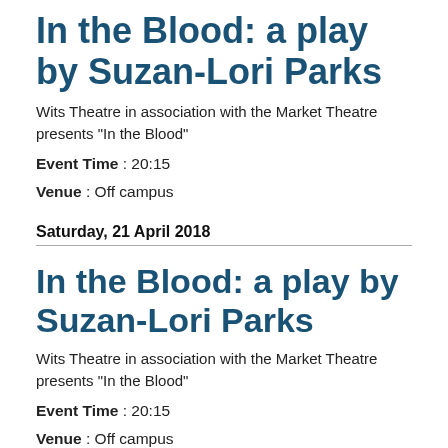In the Blood: a play by Suzan-Lori Parks
Wits Theatre in association with the Market Theatre presents "In the Blood"
Event Time : 20:15
Venue : Off campus
Saturday, 21 April 2018
In the Blood: a play by Suzan-Lori Parks
Wits Theatre in association with the Market Theatre presents "In the Blood"
Event Time : 20:15
Venue : Off campus